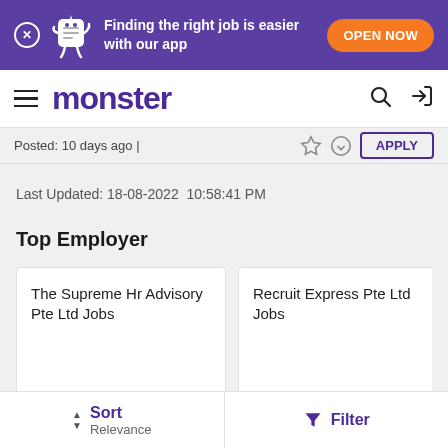[Figure (screenshot): Purple promotional banner with Monster app mascot and 'OPEN NOW' button]
monster
Posted: 10 days ago |
Last Updated: 18-08-2022  10:58:41 PM
Top Employer
The Supreme Hr Advisory Pte Ltd Jobs
Recruit Express Pte Ltd Jobs
e27 media platform Jobs
Sort Relevance   Filter